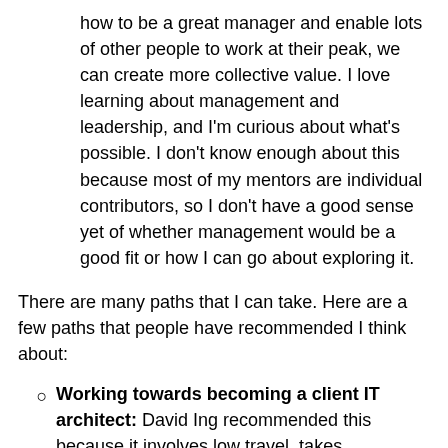how to be a great manager and enable lots of other people to work at their peak, we can create more collective value. I love learning about management and leadership, and I'm curious about what's possible. I don't know enough about this because most of my mentors are individual contributors, so I don't have a good sense yet of whether management would be a good fit or how I can go about exploring it.
There are many paths that I can take. Here are a few paths that people have recommended I think about:
Working towards becoming a client IT architect: David Ing recommended this because it involves low travel, takes advantage of my strengths in connecting the dots and keeping complex systems in my head, and helps me build a deep understanding of a particular industry (probably